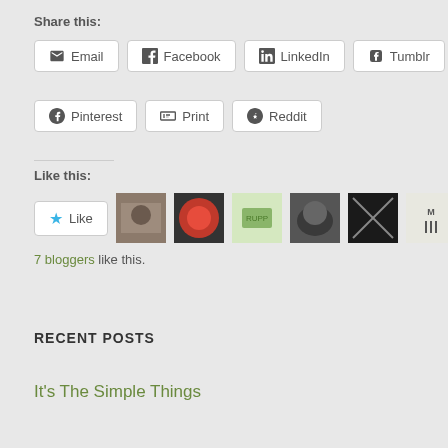Share this:
Email  Facebook  LinkedIn  Tumblr  Pinterest  Print  Reddit
Like this:
[Figure (other): Like button with star icon and 7 blogger avatar thumbnails]
7 bloggers like this.
RECENT POSTS
It's The Simple Things